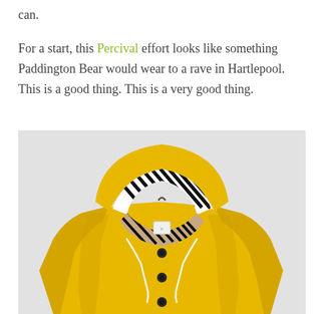can.
For a start, this Percival effort looks like something Paddington Bear would wear to a rave in Hartlepool. This is a good thing. This is a very good thing.
[Figure (photo): A bright yellow hooded rain jacket with black and white striped lining visible inside the hood, and white drawstrings, photographed against a light grey background. The jacket has dark snap buttons down the front.]